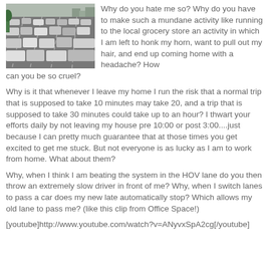[Figure (photo): Aerial or elevated view of a congested multi-lane highway with many cars in traffic]
Why do you hate me so? Why do you have to make such a mundane activity like running to the local grocery store an activity in which I am left to honk my horn, want to pull out my hair, and end up coming home with a headache? How can you be so cruel?
Why is it that whenever I leave my home I run the risk that a normal trip that is supposed to take 10 minutes may take 20, and a trip that is supposed to take 30 minutes could take up to an hour? I thwart your efforts daily by not leaving my house pre 10:00 or post 3:00....just because I can pretty much guarantee that at those times you get excited to get me stuck. But not everyone is as lucky as I am to work from home. What about them?
Why, when I think I am beating the system in the HOV lane do you then throw an extremely slow driver in front of me? Why, when I switch lanes to pass a car does my new late automatically stop? Which allows my old lane to pass me? (like this clip from Office Space!)
[youtube]http://www.youtube.com/watch?v=ANyvxSpA2cg[/youtube]